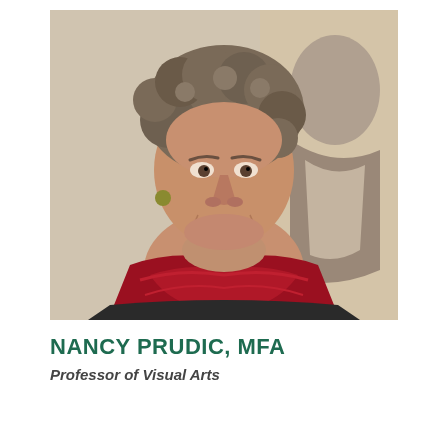[Figure (photo): Portrait photo of Nancy Prudic, a woman with curly gray-brown hair, smiling, wearing a red scarf and dark top, with a black-and-white artwork visible in the background.]
NANCY PRUDIC, MFA
Professor of Visual Arts